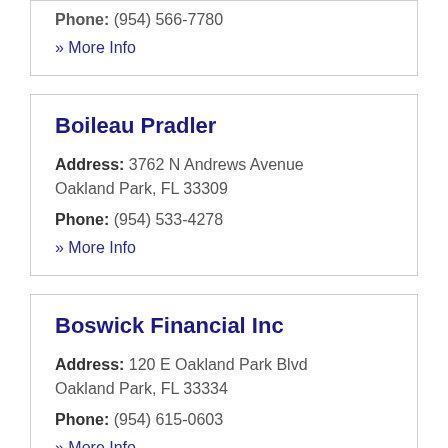Phone: (954) 566-7780
» More Info
Boileau Pradler
Address: 3762 N Andrews Avenue Oakland Park, FL 33309
Phone: (954) 533-4278
» More Info
Boswick Financial Inc
Address: 120 E Oakland Park Blvd Oakland Park, FL 33334
Phone: (954) 615-0603
» More Info